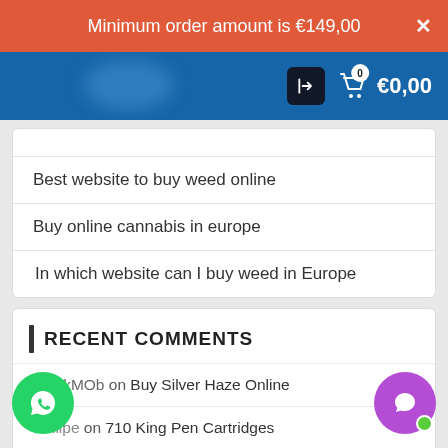Minimum order amount is €149,00
[Figure (screenshot): Blue navigation bar with login button, cart icon showing 0 items and €0,00 price]
Best website to buy weed online
Buy online cannabis in europe
In which website can I buy weed in Europe
RECENT COMMENTS
MonkMOb on Buy Silver Haze Online
Philipe on 710 King Pen Cartridges
Philipe on 710 King Pen Cartridges